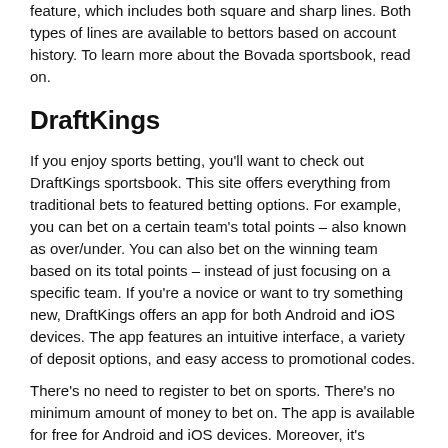feature, which includes both square and sharp lines. Both types of lines are available to bettors based on account history. To learn more about the Bovada sportsbook, read on.
DraftKings
If you enjoy sports betting, you'll want to check out DraftKings sportsbook. This site offers everything from traditional bets to featured betting options. For example, you can bet on a certain team's total points – also known as over/under. You can also bet on the winning team based on its total points – instead of just focusing on a specific team. If you're a novice or want to try something new, DraftKings offers an app for both Android and iOS devices. The app features an intuitive interface, a variety of deposit options, and easy access to promotional codes.
There's no need to register to bet on sports. There's no minimum amount of money to bet on. The app is available for free for Android and iOS devices. Moreover, it's designed to run quickly, so you don't have to worry about crashing or lagging. The SBTech technology used by DraftKings makes it easy to navigate from one page to another. In addition, users can check their account balance anytime.
FanDuel